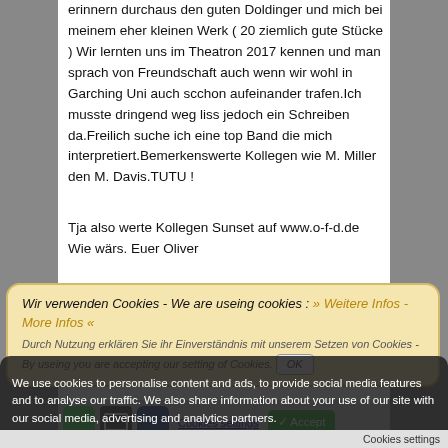erinnern durchaus den guten Doldinger und mich bei meinem eher kleinen Werk ( 20 ziemlich gute Stücke ) Wir lernten uns im Theatron 2017 kennen und man sprach von Freundschaft auch wenn wir wohl in Garching Uni auch scchon aufeinander trafen.Ich musste dringend weg liss jedoch ein Schreiben da.Freilich suche ich eine top Band die mich interpretiert.Bemerkenswerte Kollegen wie M. Miller den M. Davis.TUTU !
Tja also werte Kollegen Sunset auf www.o-f-d.de Wie wärs. Euer Oliver
Wir verwenden Cookies - We are useing cookies : » Weitere Infos - More Infos «
Durch Nutzung erklären Sie ihr Einverständnis mit unserem Setzen von Cookies - By useing you are accepting our setting of Cookies.  OK
We use cookies to personalise content and ads, to provide social media features and to analyse our traffic. We also share information about your use of our site with our social media, advertising and analytics partners.
Cookies settings
✓ Accept
Cookies settings